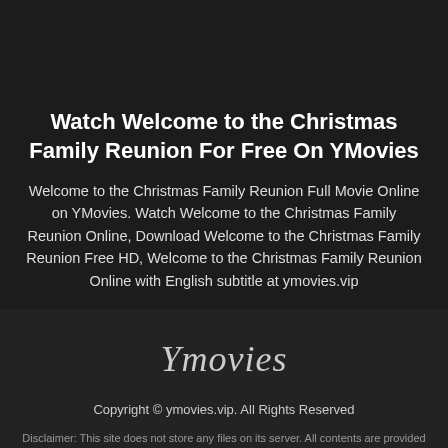Watch Welcome to the Christmas Family Reunion For Free On YMovies
Welcome to the Christmas Family Reunion Full Movie Online on YMovies. Watch Welcome to the Christmas Family Reunion Online, Download Welcome to the Christmas Family Reunion Free HD, Welcome to the Christmas Family Reunion Online with English subtitle at ymovies.vip
Ymovies
Copyright © ymovies.vip. All Rights Reserved
Disclaimer: This site does not store any files on its server. All contents are provided by [third-party] streaming.